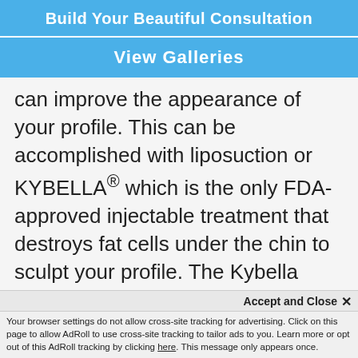Build Your Beautiful Consultation
View Galleries
can improve the appearance of your profile. This can be accomplished with liposuction or KYBELLA® which is the only FDA-approved injectable treatment that destroys fat cells under the chin to sculpt your profile. The Kybella treatment uses a synthetic form of a naturally occurring molecule in your body to aid in the breakdown and absorption of fat.
Accept and Close ✕
Your browser settings do not allow cross-site tracking for advertising. Click on this page to allow AdRoll to use cross-site tracking to tailor ads to you. Learn more or opt out of this AdRoll tracking by clicking here. This message only appears once.